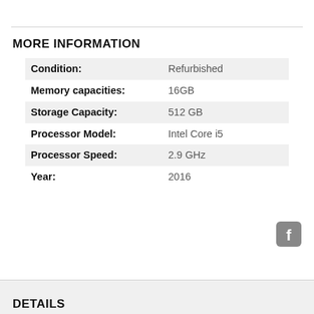MORE INFORMATION
| Attribute | Value |
| --- | --- |
| Condition: | Refurbished |
| Memory capacities: | 16GB |
| Storage Capacity: | 512 GB |
| Processor Model: | Intel Core i5 |
| Processor Speed: | 2.9 GHz |
| Year: | 2016 |
[Figure (logo): Facebook logo icon in gray rounded square]
DETAILS